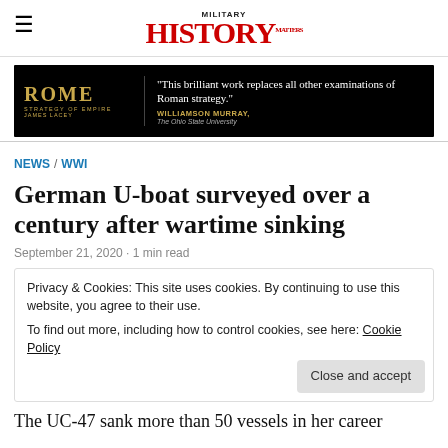MILITARY HISTORY
[Figure (other): Advertisement for 'Rome: Strategy of Empire' by James Lacey with quote from Williamson Murray, The Ohio State University]
NEWS / WWI
German U-boat surveyed over a century after wartime sinking
September 21, 2020 · 1 min read
Privacy & Cookies: This site uses cookies. By continuing to use this website, you agree to their use.
To find out more, including how to control cookies, see here: Cookie Policy
The UC-47 sank more than 50 vessels in her career